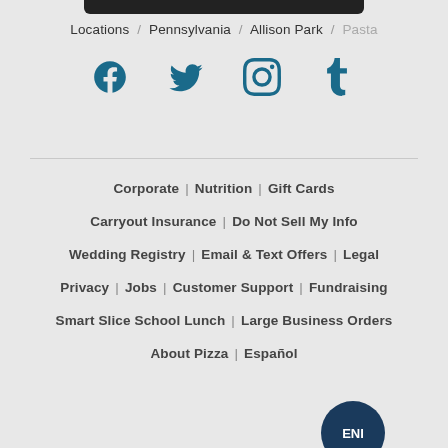Locations / Pennsylvania / Allison Park / Pasta
[Figure (other): Social media icons: Facebook, Twitter, Instagram, Tumblr]
Corporate | Nutrition | Gift Cards | Carryout Insurance | Do Not Sell My Info | Wedding Registry | Email & Text Offers | Legal | Privacy | Jobs | Customer Support | Fundraising | Smart Slice School Lunch | Large Business Orders | About Pizza | Español
[Figure (logo): Circular brand logo at bottom right]